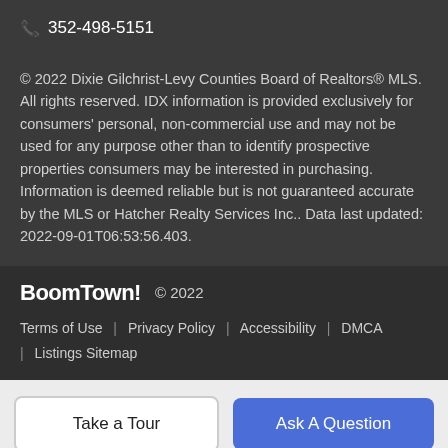📞 352-498-5151
© 2022 Dixie Gilchrist-Levy Counties Board of Realtors® MLS. All rights reserved. IDX information is provided exclusively for consumers' personal, non-commercial use and may not be used for any purpose other than to identify prospective properties consumers may be interested in purchasing. Information is deemed reliable but is not guaranteed accurate by the MLS or Hatcher Realty Services Inc.. Data last updated: 2022-09-01T06:53:56.403.
BoomTown! © 2022
Terms of Use | Privacy Policy | Accessibility | DMCA | Listings Sitemap